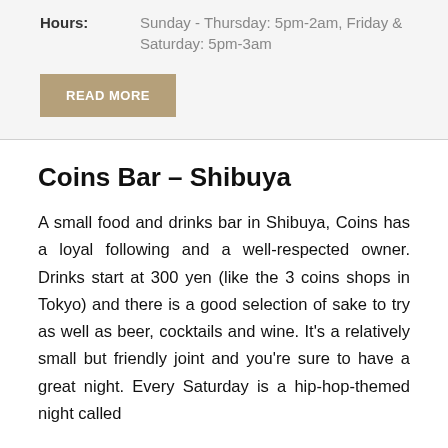Hours: Sunday - Thursday: 5pm-2am, Friday & Saturday: 5pm-3am
READ MORE
Coins Bar – Shibuya
A small food and drinks bar in Shibuya, Coins has a loyal following and a well-respected owner. Drinks start at 300 yen (like the 3 coins shops in Tokyo) and there is a good selection of sake to try as well as beer, cocktails and wine. It's a relatively small but friendly joint and you're sure to have a great night. Every Saturday is a hip-hop-themed night called